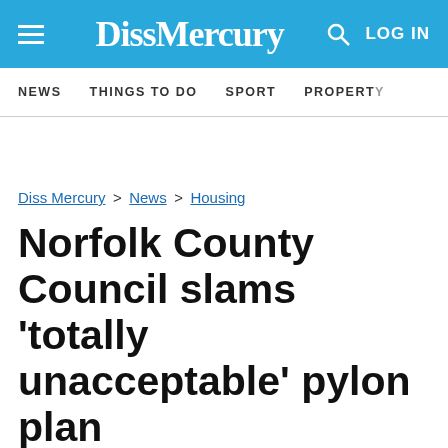DissMercury | LOG IN
NEWS | THINGS TO DO | SPORT | PROPERTY
Diss Mercury > News > Housing
Norfolk County Council slams 'totally unacceptable' pylon plan
Noah Vickers, Local Democracy Reporter